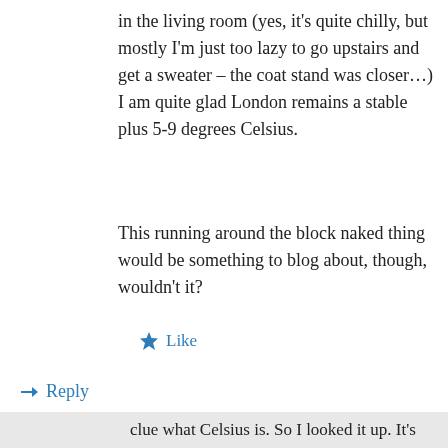in the living room (yes, it's quite chilly, but mostly I'm just too lazy to go upstairs and get a sweater – the coat stand was closer…) I am quite glad London remains a stable plus 5-9 degrees Celsius.
This running around the block naked thing would be something to blog about, though, wouldn't it?
★ Like
↳ Reply
Privacy & Cookies: This site uses cookies. By continuing to use this website, you agree to their use. To find out more, including how to control cookies, see here: Cookie Policy
Close and accept
clue what Celsius is. So I looked it up. It's